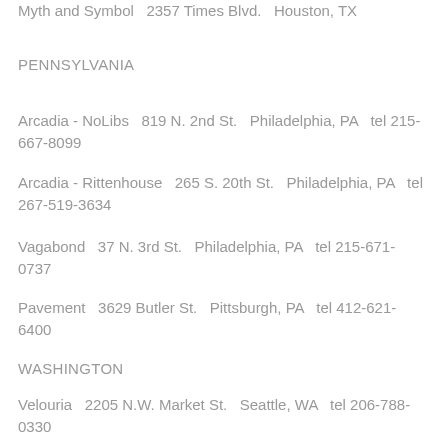Myth and Symbol  2357 Times Blvd.  Houston, TX
PENNSYLVANIA
Arcadia - NoLibs  819 N. 2nd St.  Philadelphia, PA  tel 215-667-8099
Arcadia - Rittenhouse  265 S. 20th St.  Philadelphia, PA  tel 267-519-3634
Vagabond  37 N. 3rd St.  Philadelphia, PA  tel 215-671-0737
Pavement  3629 Butler St.  Pittsburgh, PA  tel 412-621-6400
WASHINGTON
Velouria  2205 N.W. Market St.  Seattle, WA  tel 206-788-0330
DISTRICT OF COLUMBIA